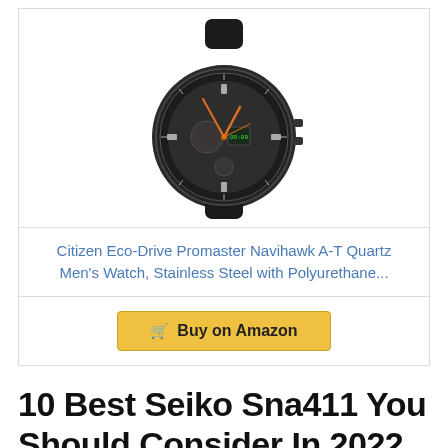[Figure (photo): Black Citizen Eco-Drive Promaster Navihawk A-T watch with rubber strap, complex dial with orange accents]
Citizen Eco-Drive Promaster Navihawk A-T Quartz Men's Watch, Stainless Steel with Polyurethane...
Buy on Amazon
10 Best Seiko Sna411 You Should Consider In 2022